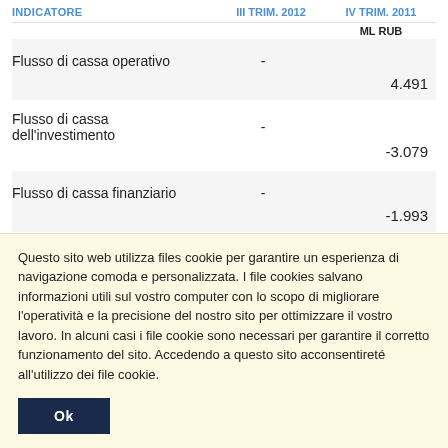| INDICATORE | III TRIM. 2012 | IV TRIM. 2011 |
| --- | --- | --- |
|  |  | ML RUB |
| Flusso di cassa operativo | - | 4.491 |
| Flusso di cassa dell'investimento | - | -3.079 |
| Flusso di cassa finanziario | - | -1.993 |
Altri parametri
| INDICATORE | III TRIM. 2012 | IV TRIM. 2011 |
| --- | --- | --- |
|  | ML RUB | ML RUB |
| ... |  | 1... |
Questo sito web utilizza files cookie per garantire un esperienza di navigazione comoda e personalizzata. I file cookies salvano informazioni utili sul vostro computer con lo scopo di migliorare l'operatività e la precisione del nostro sito per ottimizzare il vostro lavoro. In alcuni casi i file cookie sono necessari per garantire il corretto funzionamento del sito. Accedendo a questo sito acconsentirete all'utilizzo dei file cookie.